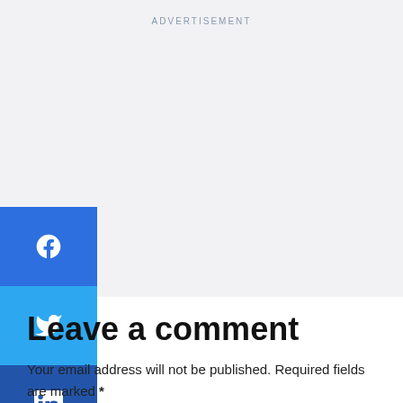ADVERTISEMENT
[Figure (other): Social share sidebar with Facebook, Twitter, LinkedIn buttons and a more (+) button]
Leave a comment
Your email address will not be published. Required fields are marked *